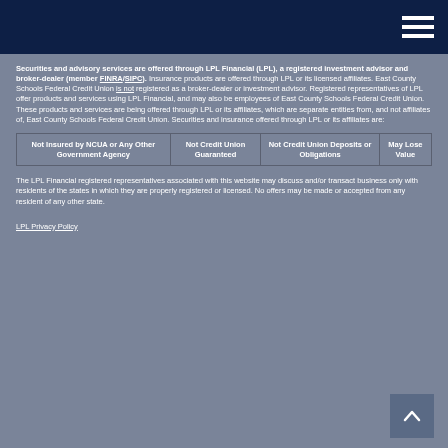Navigation menu
Securities and advisory services are offered through LPL Financial (LPL), a registered investment advisor and broker-dealer (member FINRA/SIPC). Insurance products are offered through LPL or its licensed affiliates. East County Schools Federal Credit Union is not registered as a broker-dealer or investment advisor. Registered representatives of LPL offer products and services using LPL Financial, and may also be employees of East County Schools Federal Credit Union. These products and services are being offered through LPL or its affiliates, which are separate entities from, and not affiliates of, East County Schools Federal Credit Union. Securities and insurance offered through LPL or its affiliates are:
| Not Insured by NCUA or Any Other Government Agency | Not Credit Union Guaranteed | Not Credit Union Deposits or Obligations | May Lose Value |
| --- | --- | --- | --- |
The LPL Financial registered representatives associated with this website may discuss and/or transact business only with residents of the states in which they are properly registered or licensed. No offers may be made or accepted from any resident of any other state.
LPL Privacy Policy